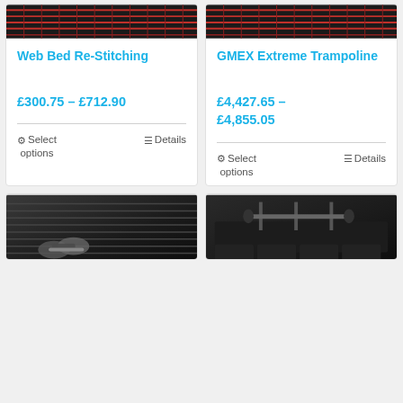[Figure (photo): Product card image - trampoline web bed stitching grid pattern, red and black]
Web Bed Re-Stitching
£300.75 – £712.90
Select options
Details
[Figure (photo): Product card image - GMEX Extreme Trampoline]
GMEX Extreme Trampoline
£4,427.65 – £4,855.05
Select options
Details
[Figure (photo): Rubber gym mat with dumbbells on top, ribbed black rubber surface]
[Figure (photo): Gym floor mat system with equipment, interlocking black foam/rubber tiles]